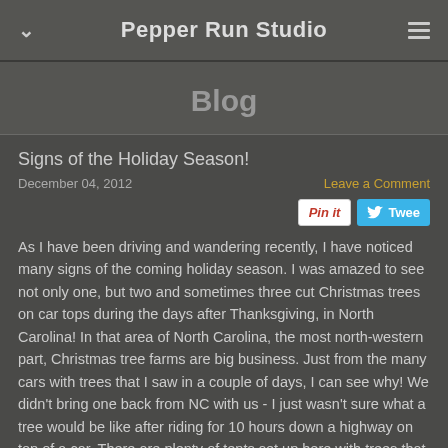Pepper Run Studio
Blog
Signs of the Holiday Season!
December 04, 2012
Leave a Comment
As I have been driving and wandering recently, I have noticed many signs of the coming holiday season.  I was amazed to see not only one, but two and sometimes three cut Christmas trees on car tops during the days after Thanksgiving, in North Carolina!  In that area of North Carolina, the most north-western part, Christmas tree farms are big business.  Just from the many cars with trees that I saw in a couple of days, I can see why!  We didn't bring one back from NC with us - I just wasn't sure what a tree would be like after riding for 10 hours down a highway on top of a car.  There are plenty of tents set up here with trees that have come from many places north of here.